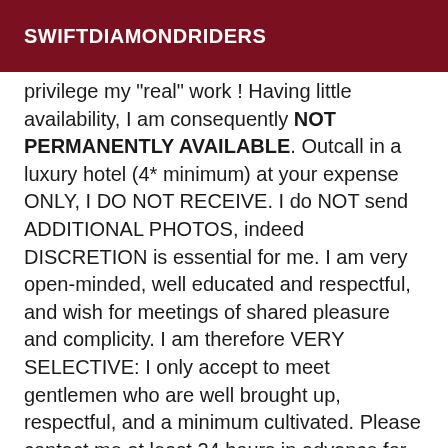SWIFTDIAMONDRIDERS
privilege my "real" work ! Having little availability, I am consequently NOT PERMANENTLY AVAILABLE. Outcall in a luxury hotel (4* minimum) at your expense ONLY, I DO NOT RECEIVE. I do NOT send ADDITIONAL PHOTOS, indeed DISCRETION is essential for me. I am very open-minded, well educated and respectful, and wish for meetings of shared pleasure and complicity. I am therefore VERY SELECTIVE: I only accept to meet gentlemen who are well brought up, respectful, and a minimum cultivated. Please contact me at least 24 hours in advance for an appointment, via sms or WhatsApp ONLY, and introduce yourself (first name, age, nationality + attach a picture of you). I DO NOT ANSWER CALLS IN A FIRST TIME, nor listen to my voice messages. I will only follow up with people who are serious, respectful, well educated and of course with impeccable hygiene. Vulgar and insulting people will be automatically and definitively blocked. Looking forward